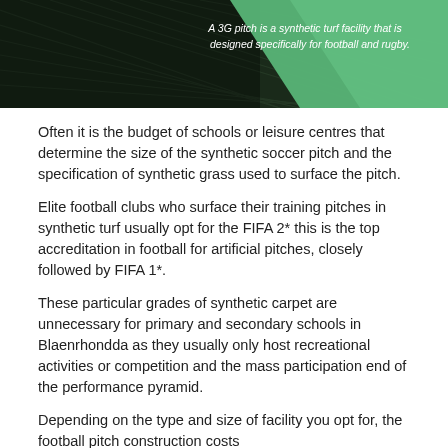[Figure (photo): Aerial/close-up view of a green synthetic turf pitch with a dark tinted overlay on the left portion. On the right side there is a white text caption on a green triangular/gradient background reading: 'A 3G pitch is a synthetic turf facility that is designed specifically for football and rugby.']
Often it is the budget of schools or leisure centres that determine the size of the synthetic soccer pitch and the specification of synthetic grass used to surface the pitch.
Elite football clubs who surface their training pitches in synthetic turf usually opt for the FIFA 2* this is the top accreditation in football for artificial pitches, closely followed by FIFA 1*.
These particular grades of synthetic carpet are unnecessary for primary and secondary schools in Blaenrhondda as they usually only host recreational activities or competition and the mass participation end of the performance pyramid.
Depending on the type and size of facility you opt for, the football pitch construction costs http://www.artificialfootballpitch.org.uk/build-costs/rhondda-cynon-taf/blaenrhondda/ will be different, so we recommend that you decide on a rough budget beforehand.